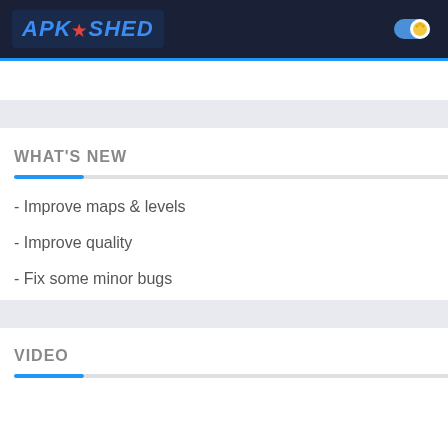APK SHED
WHAT'S NEW
- Improve maps & levels
- Improve quality
- Fix some minor bugs
VIDEO